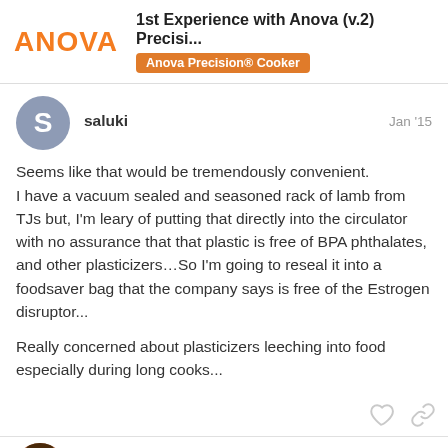1st Experience with Anova (v.2) Precisi... | Anova Precision® Cooker
saluki
Jan '15
Seems like that would be tremendously convenient.
I have a vacuum sealed and seasoned rack of lamb from TJs but, I'm leary of putting that directly into the circulator with no assurance that that plastic is free of BPA phthalates, and other plasticizers…So I'm going to reseal it into a foodsaver bag that the company says is free of the Estrogen disruptor...

Really concerned about plasticizers leeching into food especially during long cooks...
jordan
18 / 26